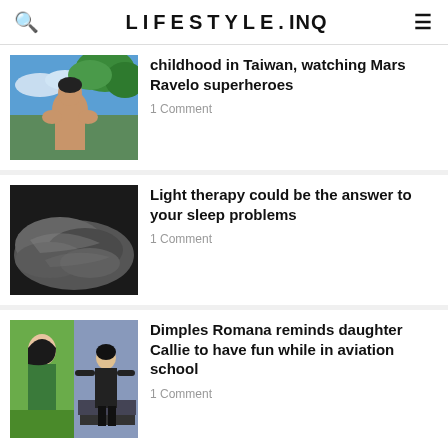LIFESTYLE.INQ
[Figure (photo): Shirtless man viewed from behind outdoors with tropical vegetation and sky]
childhood in Taiwan, watching Mars Ravelo superheroes
1 Comment
[Figure (photo): Dark close-up photo of rumpled grey fabric or bedding]
Light therapy could be the answer to your sleep problems
1 Comment
[Figure (photo): Split image: woman in green clothing and person in dark outfit with arms spread]
Dimples Romana reminds daughter Callie to have fun while in aviation school
1 Comment